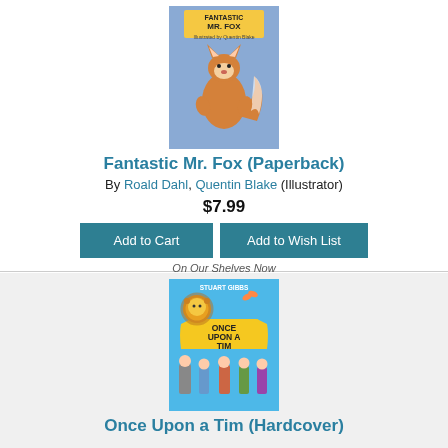[Figure (illustration): Book cover for Fantastic Mr. Fox showing a cartoon fox character on a purple/blue background]
Fantastic Mr. Fox (Paperback)
By Roald Dahl, Quentin Blake (Illustrator)
$7.99
Add to Cart
Add to Wish List
On Our Shelves Now
[Figure (illustration): Book cover for Once Upon a Tim showing cartoon characters on a blue background with a lion and scroll]
Once Upon a Tim (Hardcover)